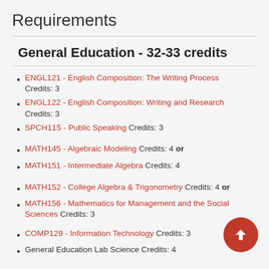Requirements
General Education - 32-33 credits
ENGL121 - English Composition: The Writing Process Credits: 3
ENGL122 - English Composition: Writing and Research Credits: 3
SPCH115 - Public Speaking Credits: 3
MATH145 - Algebraic Modeling Credits: 4 or
MATH151 - Intermediate Algebra Credits: 4
MATH152 - College Algebra & Trigonometry Credits: 4 or
MATH156 - Mathematics for Management and the Social Sciences Credits: 3
COMP129 - Information Technology Credits: 3
General Education Lab Science Credits: 4